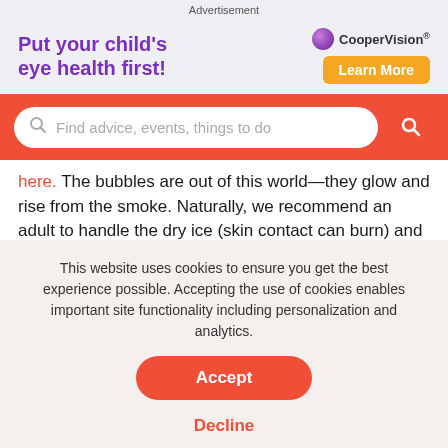[Figure (infographic): CooperVision advertisement banner: 'Put your child's eye health first!' with Learn More button]
[Figure (screenshot): Search bar with placeholder text 'Find advice, events, things to do' on red background]
here. The bubbles are out of this world—they glow and rise from the smoke. Naturally, we recommend an adult to handle the dry ice (skin contact can burn) and supervise this experiment.
Messiness factor: Three sponges.
This website uses cookies to ensure you get the best experience possible. Accepting the use of cookies enables important site functionality including personalization and analytics.